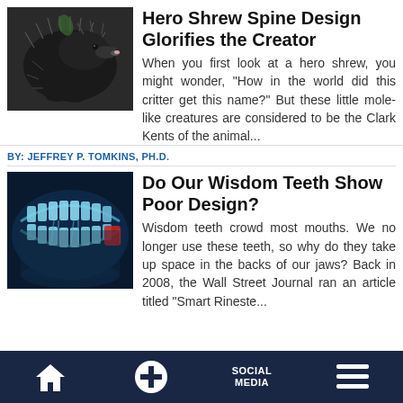[Figure (photo): Close-up photo of a hero shrew, a small mole-like creature with dark spiny fur]
Hero Shrew Spine Design Glorifies the Creator
When you first look at a hero shrew, you might wonder, “How in the world did this critter get this name?” But these little mole-like creatures are considered to be the Clark Kents of the animal...
BY: JEFFREY P. TOMKINS, PH.D.
[Figure (photo): X-ray panoramic dental scan of a jaw showing wisdom teeth, with a highlighted area in red]
Do Our Wisdom Teeth Show Poor Design?
Wisdom teeth crowd most mouths. We no longer use these teeth, so why do they take up space in the backs of our jaws? Back in 2008, the Wall Street Journal ran an article titled “Smart Rineste...
Home | + | SOCIAL MEDIA | Menu